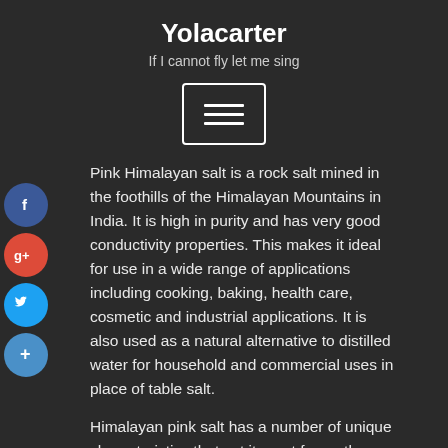Yolacarter
If I cannot fly let me sing
[Figure (infographic): Hamburger menu button icon with three horizontal bars inside a rounded rectangle border]
Pink Himalayan salt is a rock salt mined in the foothills of the Himalayan Mountains in India. It is high in purity and has very good conductivity properties. This makes it ideal for use in a wide range of applications including cooking, baking, health care, cosmetic and industrial applications. It is also used as a natural alternative to distilled water for household and commercial uses in place of table salt.
Himalayan pink salt has a number of unique characteristics that set it apart from other salts. It has trace amounts of calcium, magnesium, bromide, zinc, and potassium, just to name a few. These trace amounts of minerals make it ide a substitute for distilled water and are known for their delectable taste. Many people have found that trace amounts